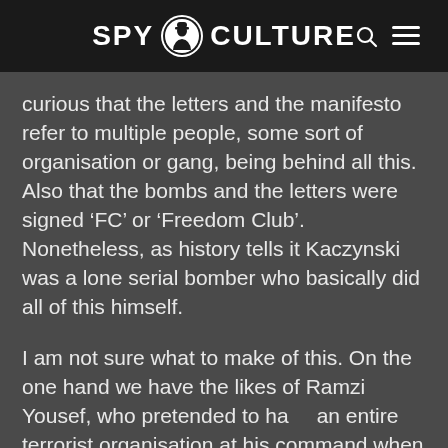SPY CULTURE
curious that the letters and the manifesto refer to multiple people, some sort of organisation or gang, being behind all this. Also that the bombs and the letters were signed ‘FC’ or ‘Freedom Club’. Nonetheless, as history tells it Kaczynski was a lone serial bomber who basically did all of this himself.
I am not sure what to make of this. On the one hand we have the likes of Ramzi Yousef, who pretended to have an entire terrorist organisation at his command when it was just him and